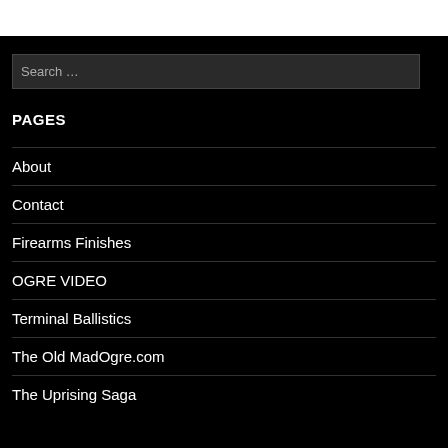[Figure (screenshot): White top bar area at the top of the page]
Search …
PAGES
About
Contact
Firearms Finishes
OGRE VIDEO
Terminal Ballistics
The Old MadOgre.com
The Uprising Saga